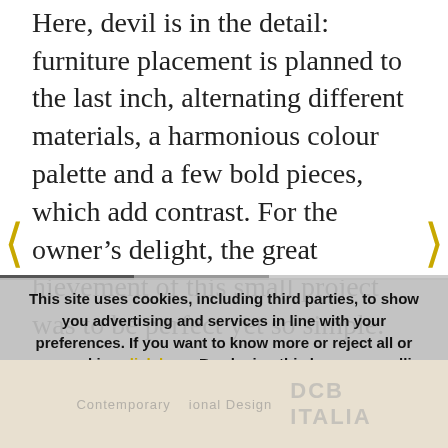rule where space is at a premium. Here, devil is in the detail: furniture placement is planned to the last inch, alternating different materials, a harmonious colour palette and a few bold pieces, which add contrast. For the owner's delight, the great hievement of this small project was to be perfect yet so simple.
This site uses cookies, including third parties, to show you advertising and services in line with your preferences. If you want to know more or reject all or some cookies click here. By closing this banner, scrolling this page or clicking any element of it, you accept the use of cookies.